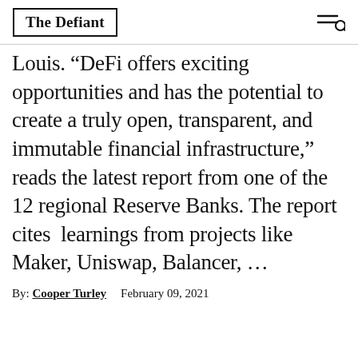The Defiant
Louis. “DeFi offers exciting opportunities and has the potential to create a truly open, transparent, and immutable financial infrastructure,” reads the latest report from one of the 12 regional Reserve Banks. The report cites  learnings from projects like Maker, Uniswap, Balancer, …
By: Cooper Turley   February 09, 2021